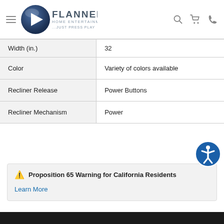Flanners Home Entertainment ...Just Press Play
| Attribute | Value |
| --- | --- |
| Width (in.) | 32 |
| Color | Variety of colors available |
| Recliner Release | Power Buttons |
| Recliner Mechanism | Power |
⚠ Proposition 65 Warning for California Residents
Learn More